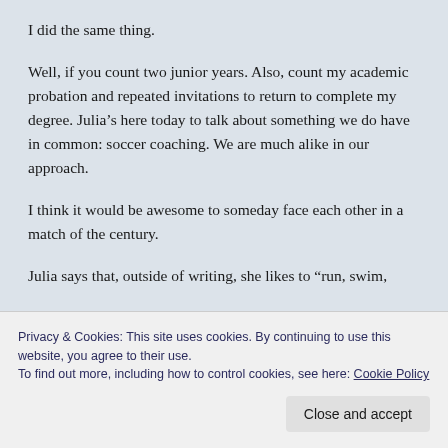I did the same thing.
Well, if you count two junior years. Also, count my academic probation and repeated invitations to return to complete my degree. Julia’s here today to talk about something we do have in common: soccer coaching. We are much alike in our approach.
I think it would be awesome to someday face each other in a match of the century.
Julia says that, outside of writing, she likes to “run, swim,
Privacy & Cookies: This site uses cookies. By continuing to use this website, you agree to their use.
To find out more, including how to control cookies, see here: Cookie Policy